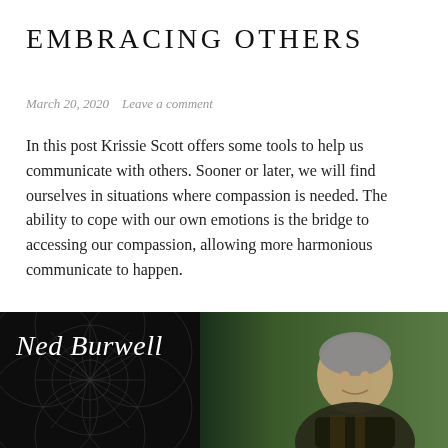EMBRACING OTHERS
March 20, 2020   Leave a comment
In this post Krissie Scott offers some tools to help us communicate with others. Sooner or later, we will find ourselves in situations where compassion is needed. The ability to cope with our own emotions is the bridge to accessing our compassion, allowing more harmonious communicate to happen.
[Figure (photo): Dark background with sacred geometry line art overlay on the left side, and a photo of a man (Ned Burwell) smiling on the right side with green outdoor background. Script-style text reads 'Ned Burwell' in white italic font.]